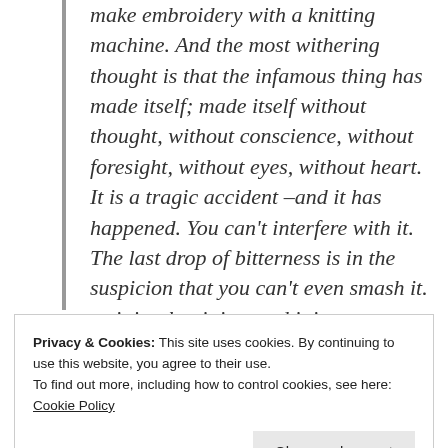make embroidery with a knitting machine. And the most withering thought is that the infamous thing has made itself; made itself without thought, without conscience, without foresight, without eyes, without heart. It is a tragic accident –and it has happened. You can't interfere with it. The last drop of bitterness is in the suspicion that you can't even smash it. … it is what it is – and it is indestructible!
Privacy & Cookies: This site uses cookies. By continuing to use this website, you agree to their use. To find out more, including how to control cookies, see here: Cookie Policy